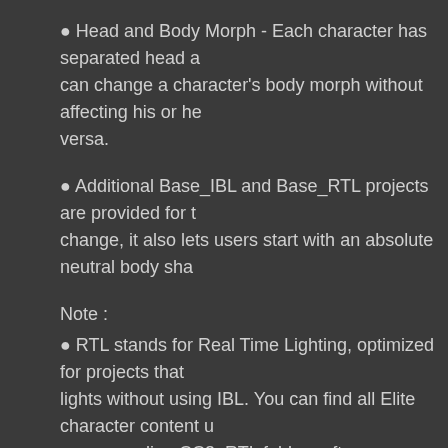• Head and Body Morph - Each character has separated head and body morph, so you can change a character's body morph without affecting his or her head morph and vice versa.
• Additional Base_IBL and Base_RTL projects are provided for the character. Not only a scene change, it also lets users start with an absolute neutral body shape and skin.
Note :
• RTL stands for Real Time Lighting, optimized for projects that use scene lights without using IBL. You can find all Elite character content under their corresponding CC3_RTL folders after installation.
Pack includes:
10 Head Morphs (Morph Preset)
6 Body Morphs (Morph Preset)
21 CC Characters (2K Texture x 11, 4K Texture x 10)
21 CC Skins (2K Texture x 11, 4K Texture x 10)